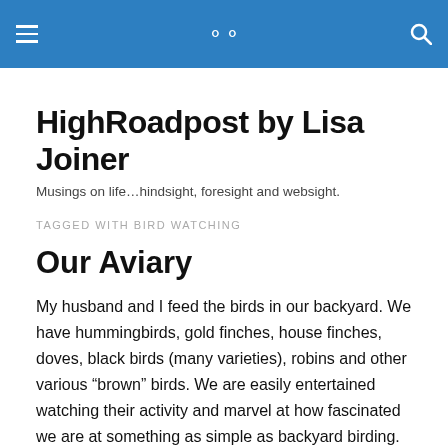HighRoadpost by Lisa Joiner [navigation header with menu and search icons]
HighRoadpost by Lisa Joiner
Musings on life…hindsight, foresight and websight.
TAGGED WITH BIRD WATCHING
Our Aviary
My husband and I feed the birds in our backyard. We have hummingbirds, gold finches, house finches, doves, black birds (many varieties), robins and other various “brown” birds. We are easily entertained watching their activity and marvel at how fascinated we are at something as simple as backyard birding.